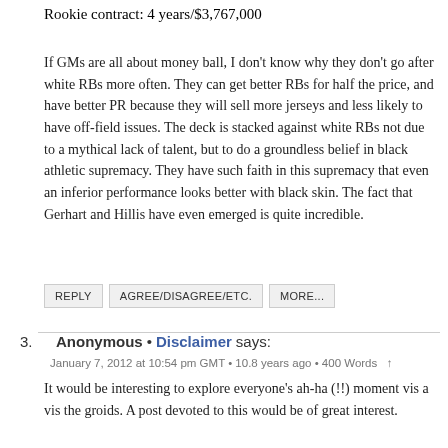Rookie contract: 4 years/$3,767,000
If GMs are all about money ball, I don't know why they don't go after white RBs more often. They can get better RBs for half the price, and have better PR because they will sell more jerseys and less likely to have off-field issues. The deck is stacked against white RBs not due to a mythical lack of talent, but to do a groundless belief in black athletic supremacy. They have such faith in this supremacy that even an inferior performance looks better with black skin. The fact that Gerhart and Hillis have even emerged is quite incredible.
REPLY   AGREE/DISAGREE/ETC.   MORE...
3.  Anonymous • Disclaimer says:
January 7, 2012 at 10:54 pm GMT • 10.8 years ago • 400 Words  ↑
It would be interesting to explore everyone's ah-ha (!!) moment vis a vis the groids. A post devoted to this would be of great interest.